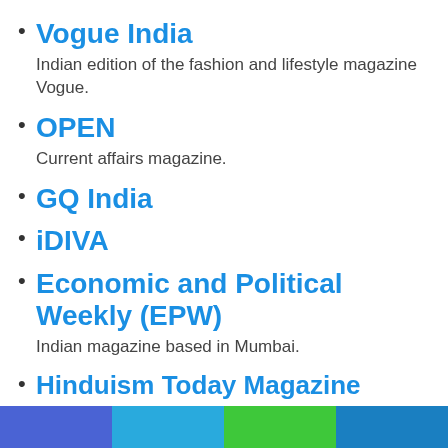Vogue India
Indian edition of the fashion and lifestyle magazine Vogue.
OPEN
Current affairs magazine.
GQ India
iDIVA
Economic and Political Weekly (EPW)
Indian magazine based in Mumbai.
Hinduism Today Magazine